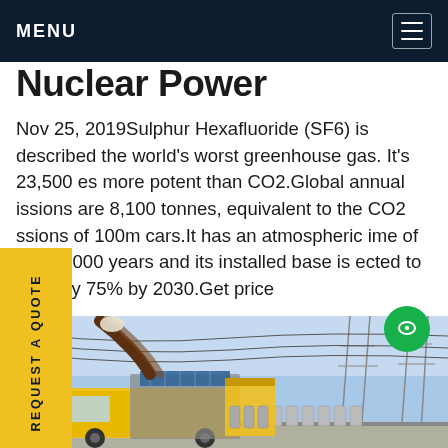MENU
Nuclear Power
Nov 25, 2019Sulphur Hexafluoride (SF6) is described the world's worst greenhouse gas. It's 23,500 es more potent than CO2.Global annual issions are 8,100 tonnes, equivalent to the CO2 ssions of 100m cars.It has an atmospheric ime of over 1,000 years and its installed base is ected to grow by 75% by 2030.Get price
[Figure (photo): Yellow utility truck with equipment operating at an electrical substation with power lines and industrial equipment in the background]